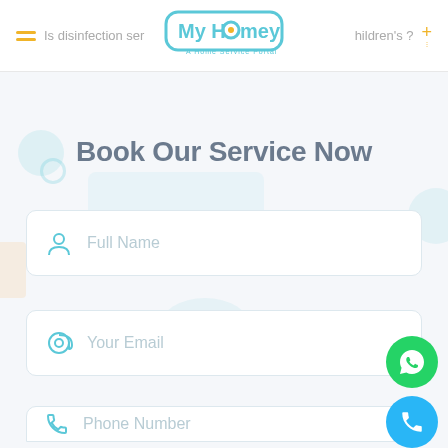Is disinfection service safe for children's ?
Book Our Service Now
[Figure (screenshot): Web form with Full Name, Your Email, and Phone Number input fields on a light background with decorative circles and the My Homey logo in the navigation bar.]